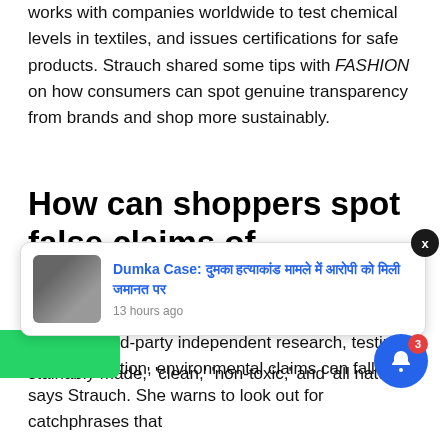works with companies worldwide to test chemical levels in textiles, and issues certifications for safe products. Strauch shared some tips with FASHION on how consumers can spot genuine transparency from brands and shop more sustainably.
How can shoppers spot false claims of sustainability from fashion brands?
"Without third-party independent research, testing and certification, environmental claims can fall flat," says Strauch. She warns to look out for catchphrases that ... on plans. ... and mes... stainably made,' 'clean,' 'non-toxic,' and 'all natu...
[Figure (screenshot): Push notification popup showing 'Dumka Case' article link with thumbnail image of a person, posted 13 hours ago, with an X close button, overlaid on the article content. A bell icon with badge count 3 appears in bottom right.]